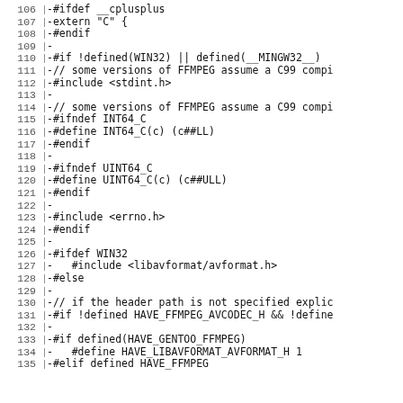106 -#ifdef __cplusplus
107 -extern "C" {
108 -#endif
109 -
110 -#if !defined(WIN32) || defined(__MINGW32__)
111 -// some versions of FFMPEG assume a C99 comp
112 -#include <stdint.h>
113 -
114 -// some versions of FFMPEG assume a C99 comp
115 -#ifndef INT64_C
116 -#define INT64_C(c) (c##LL)
117 -#endif
118 -
119 -#ifndef UINT64_C
120 -#define UINT64_C(c) (c##ULL)
121 -#endif
122 -
123 -#include <errno.h>
124 -#endif
125 -
126 -#ifdef WIN32
127 -   #include <libavformat/avformat.h>
128 -#else
129 -
130 -// if the header path is not specified explic
131 -#if !defined HAVE_FFMPEG_AVCODEC_H && !define
132 -
133 -#if defined(HAVE_GENTOO_FFMPEG)
134 -   #define HAVE_LIBAVFORMAT_AVFORMAT_H 1
135 -#elif defined HAVE_FFMPEG